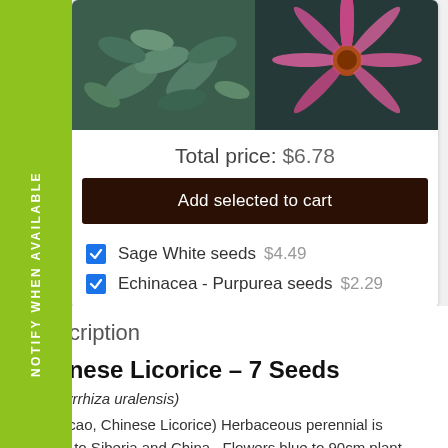[Figure (photo): Photo of sage/blue-green leafy plant]
[Figure (photo): Photo of Echinacea purpurea pink flower]
Total price: $6.78
Add selected to cart
Sage White seeds  $4.49
Echinacea - Purpurea seeds  $2.29
Description
Chinese Licorice – 7 Seeds
(Glycyrrhiza uralensis)
(Gan-cao, Chinese Licorice) Herbaceous perennial is native to Siberia and China.  Flowers blue to 90cm plant. The plant prefers alkaline soil and thrives on neglect. This plant